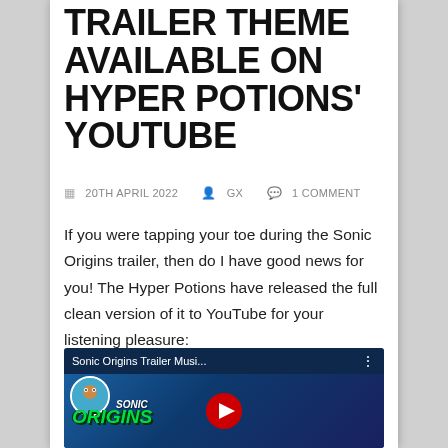TRAILER THEME AVAILABLE ON HYPER POTIONS' YOUTUBE
20TH APRIL 2022  GX  1 COMMENT
If you were tapping your toe during the Sonic Origins trailer, then do I have good news for you! The Hyper Potions have released the full clean version of it to YouTube for your listening pleasure:
[Figure (screenshot): YouTube video thumbnail for 'Sonic Origins Trailer Musi...' showing Sonic the Hedgehog and Sonic Origins branding with a play button overlay]